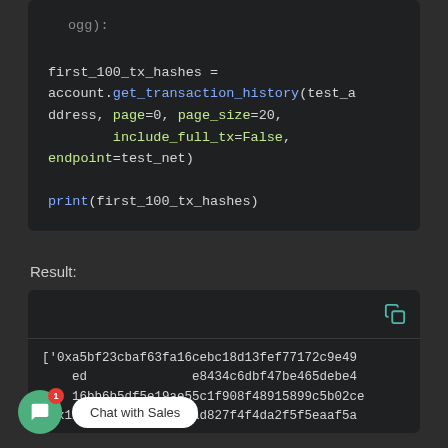[Figure (screenshot): Code block showing Python code: first_100_tx_hashes = account.get_transaction_history(test_address, page=0, page_size=20, include_full_tx=False, endpoint=test_net) followed by print(first_100_tx_hashes)]
Result:
[Figure (screenshot): Output block showing transaction hash list starting with ['0xa5bf23cbaf63fa16cebc18d13fef77172c9e49... e8434c6dbf47be465debe4... 6bb6b5df5e19ae55c1f908f48915899c5b02ce... '0x128dc419a805f8147ad827f4f4da2f5f5eaaf5a]
[Figure (infographic): Chat with Sales button overlay with green chat bubble icon, red badge showing 1, and white pill label saying 'Chat with Sales']